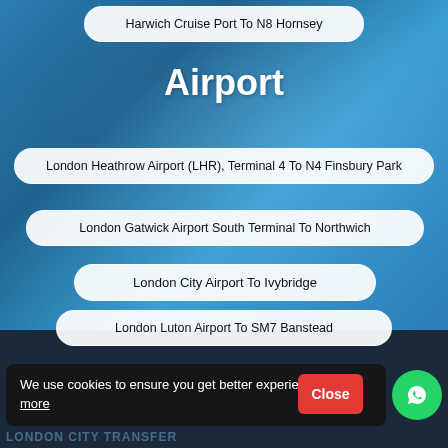Harwich Cruise Port To N8 Hornsey
Airport
London Heathrow Airport (LHR), Terminal 4 To N4 Finsbury Park
London Gatwick Airport South Terminal To Northwich
London City Airport To Ivybridge
London Luton Airport To SM7 Banstead
We use cookies to ensure you get better experience Learn more
Close
LONDON CITY TRANSFER